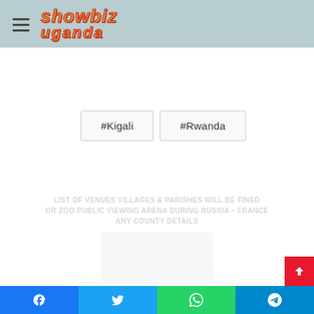Showbiz Uganda
#Kigali
#Rwanda
LIST OF VENUES VILLAGES & PARISHES WILL BE FINED OR ZOO PUBLIC VIEWING ARENA DURING RUSSIA – FRANCE ANY COUNTY DETAILS
Facebook Twitter WhatsApp Telegram